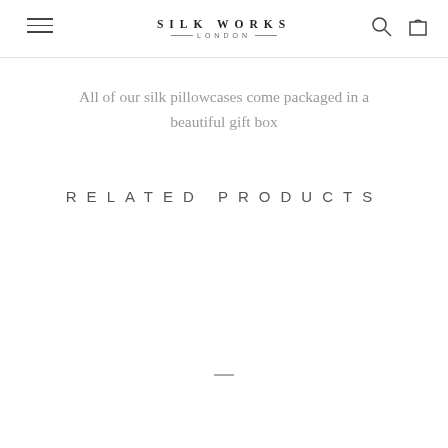SILK WORKS LONDON
All of our silk pillowcases come packaged in a beautiful gift box
RELATED PRODUCTS